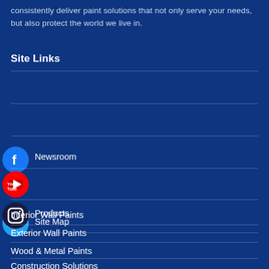consistently deliver paint solutions that not only serve your needs, but also protect the world we live in.
Site Links
Newsroom
Site Map
Downloads
Products
Interior Wall Paints
Exterior Wall Paints
Wood & Metal Paints
Construction Solutions